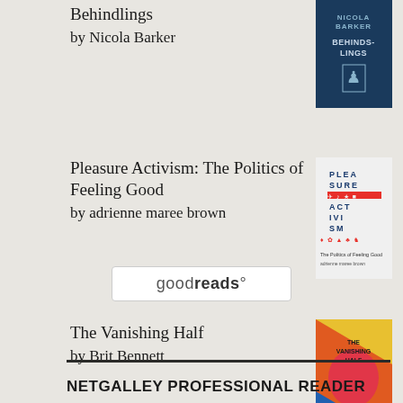Behindlings
by Nicola Barker
[Figure (illustration): Book cover for Behindlings by Nicola Barker - dark blue cover with author name and title]
Pleasure Activism: The Politics of Feeling Good
by adrienne maree brown
[Figure (illustration): Book cover for Pleasure Activism: The Politics of Feeling Good by adrienne maree brown - colorful typographic cover]
The Vanishing Half
by Brit Bennett
[Figure (illustration): Book cover for The Vanishing Half by Brit Bennett - colorful cover with abstract design]
[Figure (logo): Goodreads logo in a white rounded rectangle box]
NETGALLEY PROFESSIONAL READER